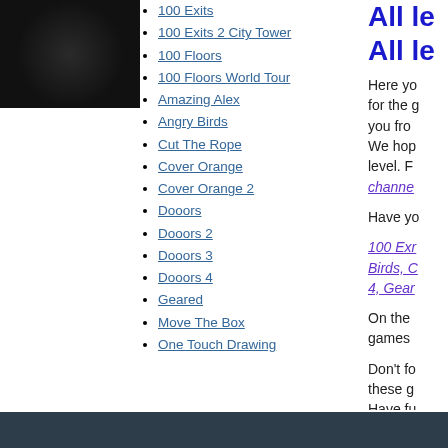[Figure (photo): Dark decorative image in top-left sidebar]
100 Exits
100 Exits 2 City Tower
100 Floors
100 Floors World Tour
Amazing Alex
Angry Birds
Cut The Rope
Cover Orange
Cover Orange 2
Dooors
Dooors 2
Dooors 3
Dooors 4
Geared
Move The Box
One Touch Drawing
All le All le
Here yo for the g you fro We hop level. F
channe
Have yo
100 Exr Birds, C 4, Gear
On the games
Don't fo these g Have fu